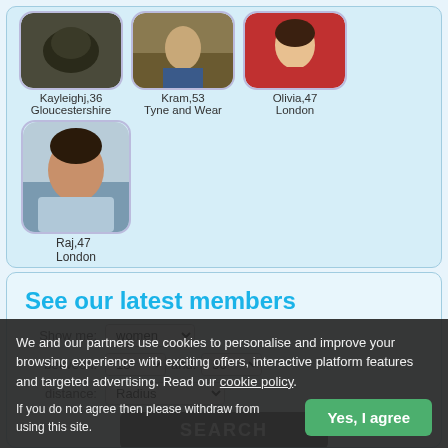[Figure (photo): Profile photo of Kayleighj,36 from Gloucestershire — dark animal photo]
Kayleighj,36
Gloucestershire
[Figure (photo): Profile photo of Kram,53 from Tyne and Wear]
Kram,53
Tyne and Wear
[Figure (photo): Profile photo of Olivia,47 from London — woman in red]
Olivia,47
London
[Figure (photo): Profile photo of Raj,47 from London — man in light blue shirt outdoors]
Raj,47
London
See our latest members
Show me: women
between: 18 and: 50
distance: Radius
SEARCH
We and our partners use cookies to personalise and improve your browsing experience with exciting offers, interactive platform features and targeted advertising. Read our cookie policy.
If you do not agree then please withdraw from using this site.
Yes, I agree